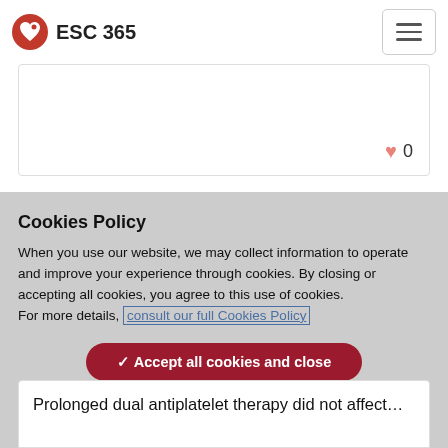ESC 365
0
Cookies Policy
When you use our website, we may collect information to operate and improve your experience through cookies. By closing or accepting all cookies, you agree to this use of cookies.
For more details, consult our full Cookies Policy
✓ Accept all cookies and close
› Update my cookie settings
Prolonged dual antiplatelet therapy did not affect…